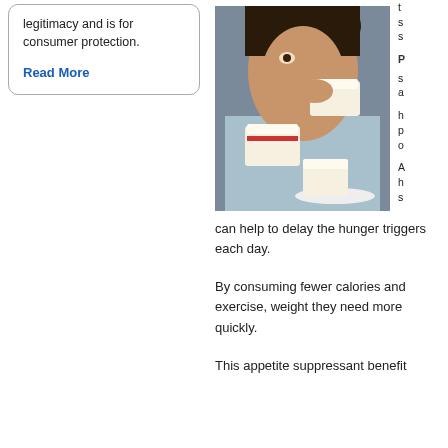legitimacy and is for consumer protection.
Read More
[Figure (photo): Woman eating multiple pieces of cake simultaneously, appearing frenzied or compulsive about eating.]
can help to delay the hunger triggers each day.
By consuming fewer calories and exercise, weight they need more quickly.
This appetite suppressant benefit